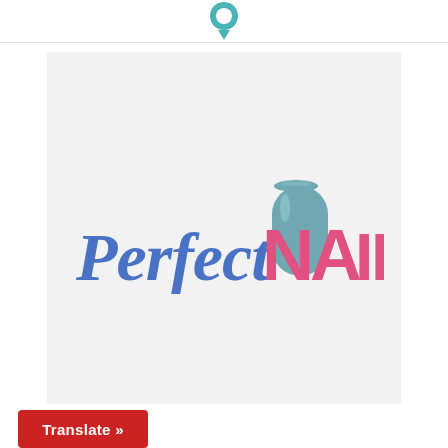[Figure (logo): Teal circular icon in the page header area]
[Figure (logo): Perfect Nails logo on light gray background. Script blue text reading 'Perfect' and pink bold uppercase text reading 'NAILS' with a teal nail polish bottle graphic above the letters.]
Translate »